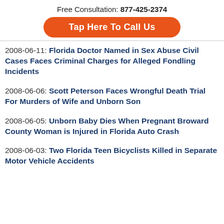Free Consultation: 877-425-2374
Tap Here To Call Us
2008-06-11: Florida Doctor Named in Sex Abuse Civil Cases Faces Criminal Charges for Alleged Fondling Incidents
2008-06-06: Scott Peterson Faces Wrongful Death Trial For Murders of Wife and Unborn Son
2008-06-05: Unborn Baby Dies When Pregnant Broward County Woman is Injured in Florida Auto Crash
2008-06-03: Two Florida Teen Bicyclists Killed in Separate Motor Vehicle Accidents